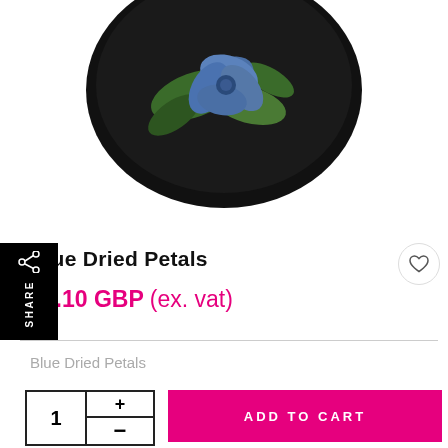[Figure (photo): Product photo: a round black container with a blue dried flower (hydrangea) and green leaves inside, shown from above on white background.]
SHARE
Blue Dried Petals
£1.10 GBP (ex. vat)
Blue Dried Petals
1 + - ADD TO CART